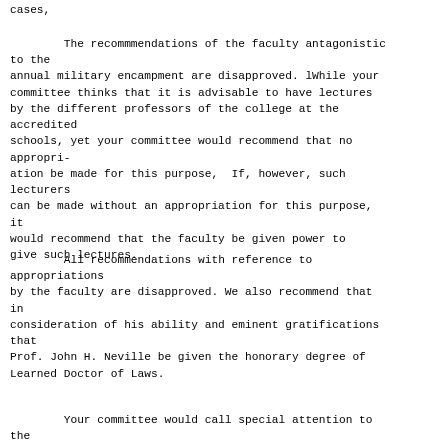cases,
The recommmendations of the faculty antagonistic to the
annual military encampment are disapproved. lWhile your
committee thinks that it is advisable to have lectures
by the different professors of the college at the
accredited
schools, yet your committee would recommend that no
appropri-
ation be made for this purpose,  If, however, such
lecturers
can be made without an appropriation for this purpose,
it
would recommend that the faculty be given power to
give such lectures.
All recommendations with reference to
appropriations
by the faculty are disapproved. We also recommend that
in
consideration of his ability and eminent gratifications
that
Prof. John H. Neville be given the honorary degree of
Learned Doctor of Laws.
Your committee would call special attention to
the